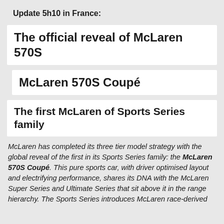Update 5h10 in France:
The official reveal of McLaren 570S
McLaren 570S Coupé
The first McLaren of Sports Series family
McLaren has completed its three tier model strategy with the global reveal of the first in its Sports Series family: the McLaren 570S Coupé. This pure sports car, with driver optimised layout and electrifying performance, shares its DNA with the McLaren Super Series and Ultimate Series that sit above it in the range hierarchy. The Sports Series introduces McLaren race-derived